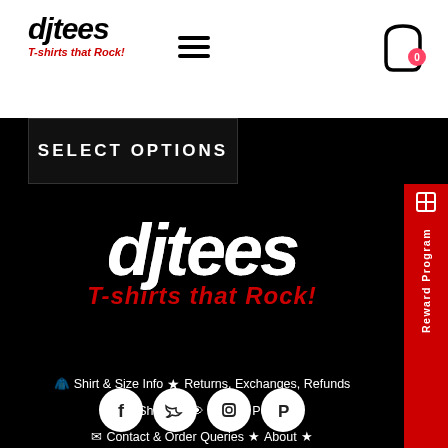djtees T-shirts that Rock!
SELECT OPTIONS
[Figure (logo): djtees T-shirts that Rock! large footer logo on black background]
Shirt & Size Info  ★  Returns, Exchanges, Refunds
Shipping  Privacy Policy
Contact & Order Queries  ★  About  ★
[Figure (illustration): Social media icons: Facebook, Twitter, Instagram, Pinterest - white circles on black background]
Reward Program